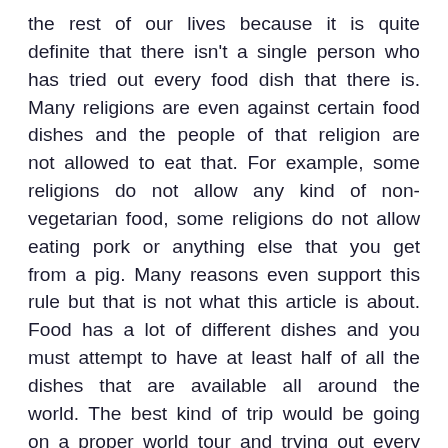the rest of our lives because it is quite definite that there isn't a single person who has tried out every food dish that there is. Many religions are even against certain food dishes and the people of that religion are not allowed to eat that. For example, some religions do not allow any kind of non-vegetarian food, some religions do not allow eating pork or anything else that you get from a pig. Many reasons even support this rule but that is not what this article is about. Food has a lot of different dishes and you must attempt to have at least half of all the dishes that are available all around the world. The best kind of trip would be going on a proper world tour and trying out every country's cuisine. Now that would be a resourceful trip that one could actually enjoy and find it memorable always. When it comes to seafood, there are many different types of fish that we eat and other sea animals that you must try at least